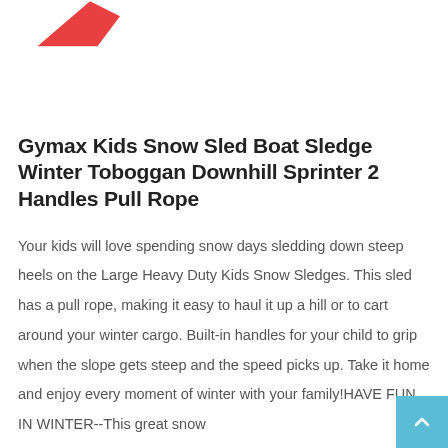[Figure (illustration): Partial view of a red sled product image at the top of the page, cropped showing only the upper portion]
Gymax Kids Snow Sled Boat Sledge Winter Toboggan Downhill Sprinter 2 Handles Pull Rope
Your kids will love spending snow days sledding down steep heels on the Large Heavy Duty Kids Snow Sledges. This sled has a pull rope, making it easy to haul it up a hill or to cart around your winter cargo. Built-in handles for your child to grip when the slope gets steep and the speed picks up. Take it home and enjoy every moment of winter with your family!HAVE FUN IN WINTER--This great snow